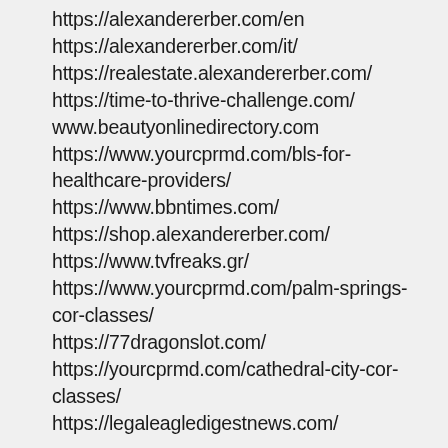https://alexandererber.com/en
https://alexandererber.com/it/
https://realestate.alexandererber.com/
https://time-to-thrive-challenge.com/
www.beautyonlinedirectory.com
https://www.yourcprmd.com/bls-for-healthcare-providers/
https://www.bbntimes.com/
https://shop.alexandererber.com/
https://www.tvfreaks.gr/
https://www.yourcprmd.com/palm-springs-cor-classes/
https://77dragonslot.com/
https://yourcprmd.com/cathedral-city-cor-classes/
https://legaleagledigestnews.com/